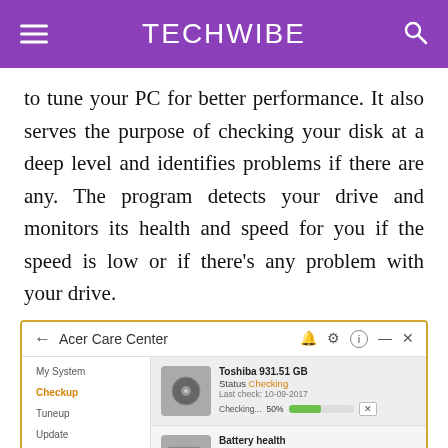TECHWIBE
to tune your PC for better performance. It also serves the purpose of checking your disk at a deep level and identifies problems if there are any. The program detects your drive and monitors its health and speed for you if the speed is low or if there's any problem with your drive.
[Figure (screenshot): Screenshot of Acer Care Center application showing Checkup section with Toshiba 931.51 GB disk checking at 50%, Battery health status Good, and LAN status Not connected with Diagnose option.]